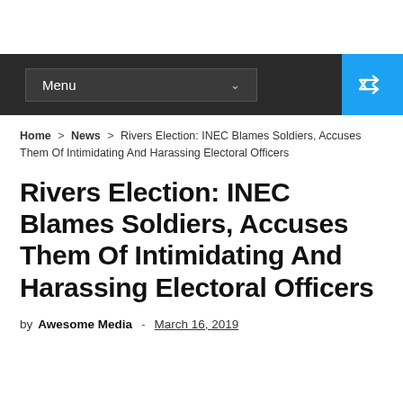Menu
Home > News > Rivers Election: INEC Blames Soldiers, Accuses Them Of Intimidating And Harassing Electoral Officers
Rivers Election: INEC Blames Soldiers, Accuses Them Of Intimidating And Harassing Electoral Officers
by Awesome Media - March 16, 2019